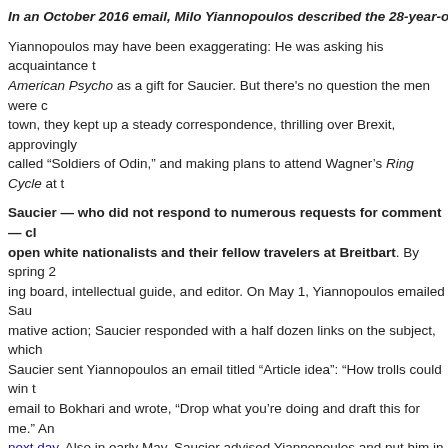In an October 2016 email, Milo Yiannopoulos described the 28-year-old S
Yiannopoulos may have been exaggerating: He was asking his acquaintance to send him American Psycho as a gift for Saucier. But there's no question the men were c... town, they kept up a steady correspondence, thrilling over Brexit, approvingly ... called “Soldiers of Odin,” and making plans to attend Wagner’s Ring Cycle at t
Saucier — who did not respond to numerous requests for comment — cl... open white nationalists and their fellow travelers at Breitbart. By spring 2... ing board, intellectual guide, and editor. On May 1, Yiannopoulos emailed Sau... mative action; Saucier responded with a half dozen links on the subject, which ... Saucier sent Yiannopoulos an email titled “Article idea”: “How trolls could win t... email to Bokhari and wrote, “Drop what you’re doing and draft this for me.” An... next day. Also in early May, Saucier advised Yiannopoulos and put him in touc... sion with Taylor Swift.
Saucier also seems to have had enough clout with Yiannopoulos to get him to... Saucier a full draft of the class-based affirmative action story. “This really isn’t... explanation of how “true class-based affirmative action” would cause “black en... The next day, Yiannopoulos wrote back, “I feel suitably admonished,” with ano... Yiannopoulos was trying to “soft pedal” racial differences in intelligence, Sauci... ry never ran.
At other times, though, Yiannopoulos’s writing delighted the young white natio... to his story “Milo On Why Britain Should Leave The EU — To Stop Muslim Imm